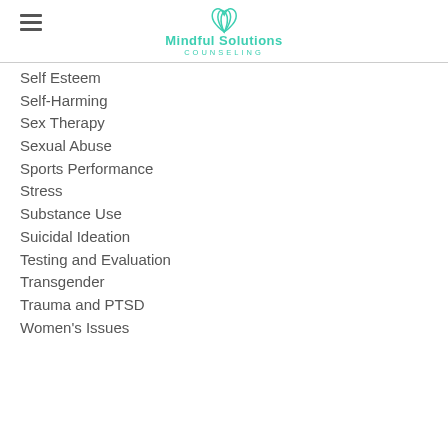Mindful Solutions Counseling
Self Esteem
Self-Harming
Sex Therapy
Sexual Abuse
Sports Performance
Stress
Substance Use
Suicidal Ideation
Testing and Evaluation
Transgender
Trauma and PTSD
Women's Issues